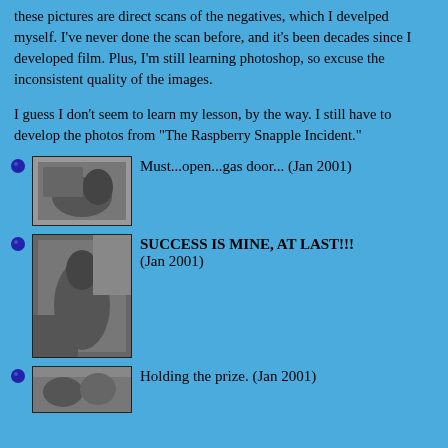these pictures are direct scans of the negatives, which I develped myself. I've never done the scan before, and it's been decades since I developed film. Plus, I'm still learning photoshop, so excuse the inconsistent quality of the images.
I guess I don't seem to learn my lesson, by the way. I still have to develop the photos from "The Raspberry Snapple Incident."
Must...open...gas door... (Jan 2001)
SUCCESS IS MINE, AT LAST!!!
(Jan 2001)
Holding the prize. (Jan 2001)